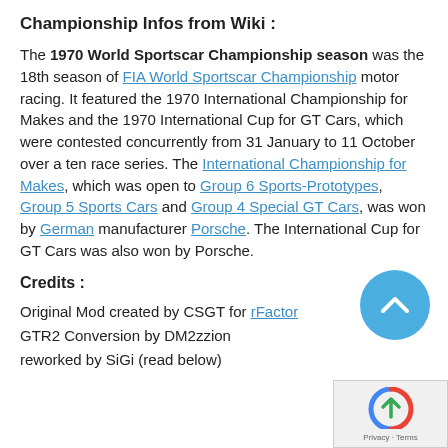Championship Infos from Wiki :
The 1970 World Sportscar Championship season was the 18th season of FIA World Sportscar Championship motor racing. It featured the 1970 International Championship for Makes and the 1970 International Cup for GT Cars, which were contested concurrently from 31 January to 11 October over a ten race series. The International Championship for Makes, which was open to Group 6 Sports-Prototypes, Group 5 Sports Cars and Group 4 Special GT Cars, was won by German manufacturer Porsche. The International Cup for GT Cars was also won by Porsche.
Credits :
Original Mod created by CSGT for rFactor
GTR2 Conversion by DM2zzion
reworked by SiGi (read below)